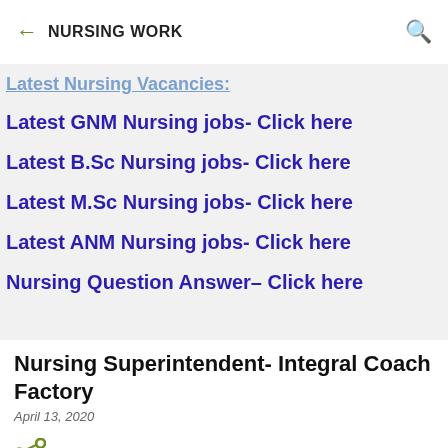NURSING WORK
Latest Nursing Vacancies:
Latest GNM Nursing jobs- Click here
Latest B.Sc Nursing jobs- Click here
Latest M.Sc Nursing jobs- Click here
Latest ANM Nursing jobs- Click here
Nursing Question Answer- Click here
Nursing Superintendent- Integral Coach Factory
April 13, 2020
[Figure (other): Share icon (three connected circles)]